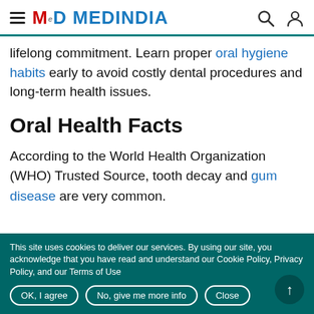MedIndia
lifelong commitment. Learn proper oral hygiene habits early to avoid costly dental procedures and long-term health issues.
Oral Health Facts
According to the World Health Organization (WHO) Trusted Source, tooth decay and gum disease are very common.
This site uses cookies to deliver our services. By using our site, you acknowledge that you have read and understand our Cookie Policy, Privacy Policy, and our Terms of Use